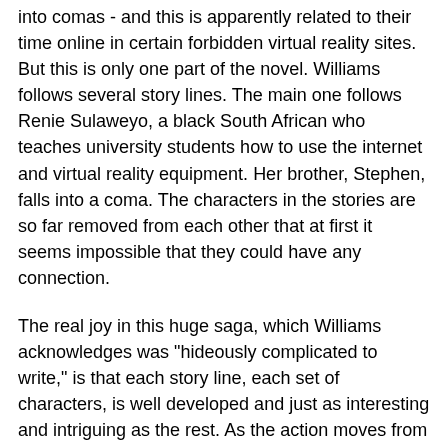into comas - and this is apparently related to their time online in certain forbidden virtual reality sites. But this is only one part of the novel. Williams follows several story lines. The main one follows Renie Sulaweyo, a black South African who teaches university students how to use the internet and virtual reality equipment. Her brother, Stephen, falls into a coma. The characters in the stories are so far removed from each other that at first it seems impossible that they could have any connection.
The real joy in this huge saga, which Williams acknowledges was "hideously complicated to write," is that each story line, each set of characters, is well developed and just as interesting and intriguing as the rest. As the action moves from one character to another I was equally interested in what was happening to every character. It is also all very well written. With Otherland, Williams has created a huge, intricate, complete world. It also didn't seem as frantic as the cyber punk I've tried to read in the past.
My one anxious moment came at the very end when I realized that it doesn't end. You need to go right on to the